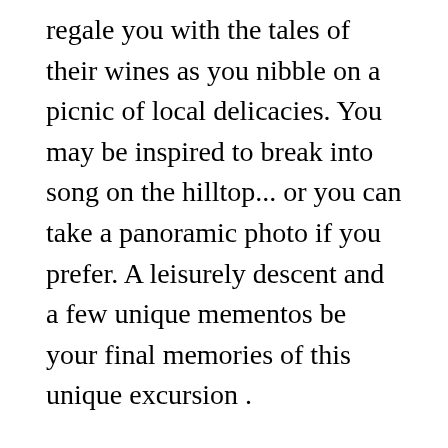regale you with the tales of their wines as you nibble on a picnic of local delicacies. You may be inspired to break into song on the hilltop... or you can take a panoramic photo if you prefer. A leisurely descent and a few unique mementos be your final memories of this unique excursion .
THEME:  A Rustic Experience
Fitness level:  light
Extras required:  none
Join us for a rustic experience in the desert, and get to know why we are the wine capital of Canada. We'll give you a history of the industry, showcase what makes are area so